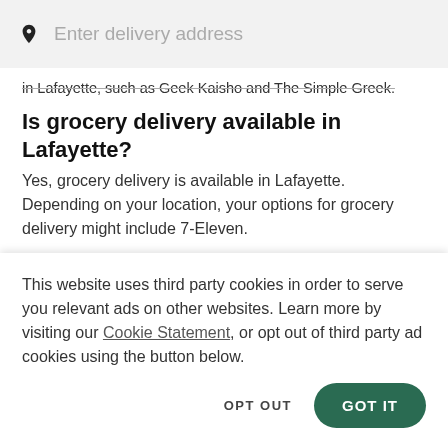Enter delivery address
in Lafayette, such as Geek Kaisho and The Simple Greek.
Is grocery delivery available in Lafayette?
Yes, grocery delivery is available in Lafayette. Depending on your location, your options for grocery delivery might include 7-Eleven.
Is contact-free delivery available with
This website uses third party cookies in order to serve you relevant ads on other websites. Learn more by visiting our Cookie Statement, or opt out of third party ad cookies using the button below.